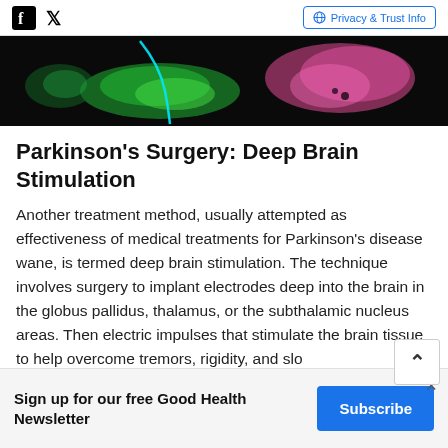Facebook Twitter | Privacy & Trust Info
[Figure (photo): Medical brain scan image showing colorized neurological structures on black background, with green and pink/magenta highlighted areas]
Parkinson's Surgery: Deep Brain Stimulation
Another treatment method, usually attempted as effectiveness of medical treatments for Parkinson's disease wane, is termed deep brain stimulation. The technique involves surgery to implant electrodes deep into the brain in the globus pallidus, thalamus, or the subthalamic nucleus areas. Then electric impulses that stimulate the brain tissue to help overcome tremors, rigidity, and slo
ADVERTISEMENT
Sign up for our free Good Health Newsletter
Subscribe